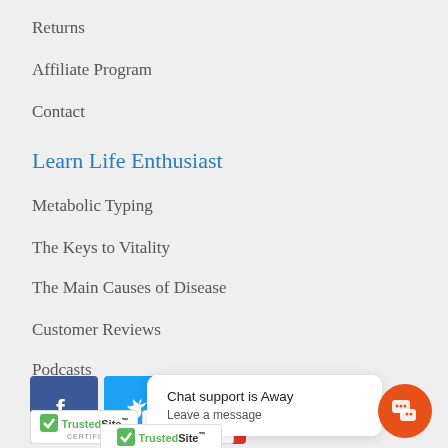Returns
Affiliate Program
Contact
Learn Life Enthusiast
Metabolic Typing
The Keys to Vitality
The Main Causes of Disease
Customer Reviews
Podcasts
Follow Us
[Figure (other): Social media icons: Facebook (blue), Twitter (light blue), YouTube (red)]
[Figure (other): TrustedSite certified badges and chat support popup saying 'Chat support is Away' and 'Leave a message']